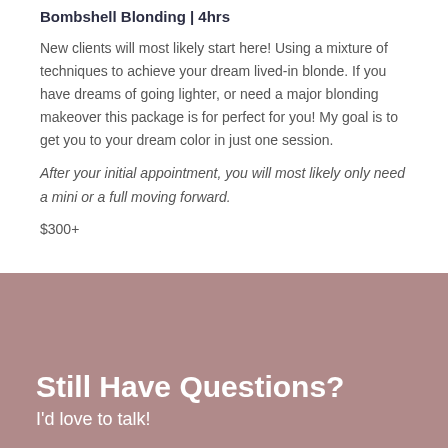Bombshell Blonding | 4hrs
New clients will most likely start here! Using a mixture of techniques to achieve your dream lived-in blonde. If you have dreams of going lighter, or need a major blonding makeover this package is for perfect for you! My goal is to get you to your dream color in just one session.
After your initial appointment, you will most likely only need a mini or a full moving forward.
$300+
Still Have Questions?
I'd love to talk!